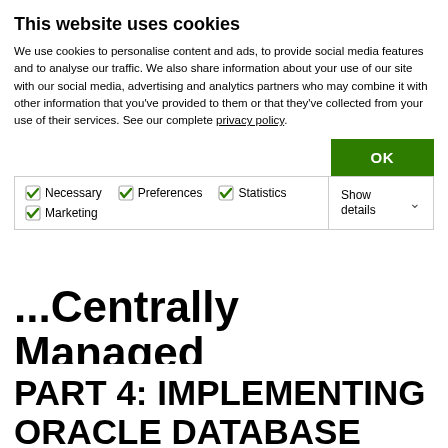...Centrally Managed Users (CMU)
PART 4: IMPLEMENTING ORACLE DATABASE SINGLE SIGN-ON USING KERBEROS, ACTIVE
This website uses cookies
We use cookies to personalise content and ads, to provide social media features and to analyse our traffic. We also share information about your use of our site with our social media, advertising and analytics partners who may combine it with other information that you've provided to them or that they've collected from your use of their services. See our complete privacy policy.